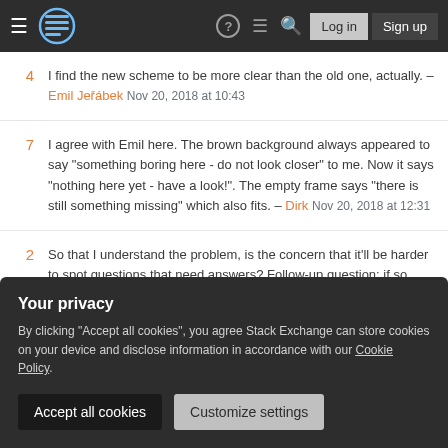Stack Exchange navigation header with hamburger menu, logo, help, chat, search icons, Log in and Sign up buttons
4 — I find the new scheme to be more clear than the old one, actually. – Emil Jeřábek Nov 20, 2018 at 10:43
7 — I agree with Emil here. The brown background always appeared to say "something boring here - do not look closer" to me. Now it says "nothing here yet - have a look!". The empty frame says "there is still something missing" which also fits. – Dirk Nov 20, 2018 at 12:31
2 — So that I understand the problem, is the concern that it'll be harder to spot questions that need answers? Follow-up question: if so, would something like custom question lists help? – Jon Ericson Nov 20, 2018 at
Your privacy
By clicking "Accept all cookies", you agree Stack Exchange can store cookies on your device and disclose information in accordance with our Cookie Policy.
[Accept all cookies] [Customize settings]
little bit (a month or so) to see if your opinions change.